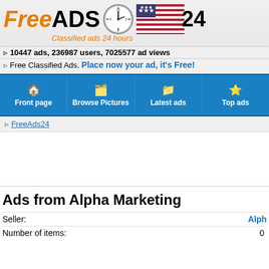[Figure (logo): FreeADS24 logo with clock and American flag, tagline 'Classified ads 24 hours']
10447 ads, 236987 users, 7025577 ad views
Free Classified Ads. Place now your ad, it's Free!
Front page | Browse Pictures | Latest ads | Top ads
FreeAds24
Ads from Alpha Marketing
Seller:
Number of items: 0